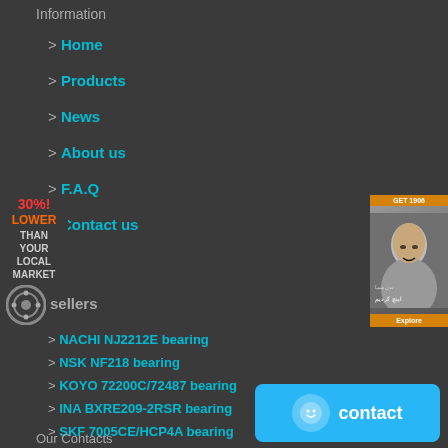Information
> Home
> Products
> News
> About us
> F.A.Q
> Contact us
[Figure (infographic): 30% LOWER THAN YOUR LOCAL MARKET promotional badge]
[Figure (photo): Advertisement banner with woman's face]
sellers
> NACHI NJ2212E bearing
> NSK NF218 bearing
> KOYO 72200C/72487 bearing
> INA BXRE209-2RSR bearing
> SKF 7005CE/HCP4A bearing
> SKF 2788/2720/QCL7C bearing
> NSK 2J120-14 bearing
> SKF 2308ETN9 bearing
Our Contacts
[Figure (infographic): Contact button with smiley icon and text contact]